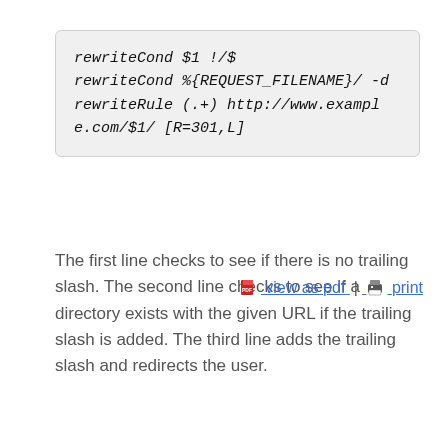The first line checks to see if there is no trailing slash. The second line checks to see if a directory exists with the given URL if the trailing slash is added. The third line adds the trailing slash and redirects the user.
view as pdf | print